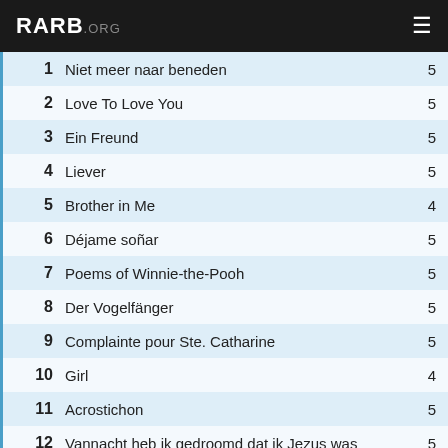RARB.ORG
| # | Title | Score |
| --- | --- | --- |
| 1 | Niet meer naar beneden | 5 |
| 2 | Love To Love You | 5 |
| 3 | Ein Freund | 5 |
| 4 | Liever | 5 |
| 5 | Brother in Me | 4 |
| 6 | Déjame soñar | 5 |
| 7 | Poems of Winnie-the-Pooh | 5 |
| 8 | Der Vogelfänger | 5 |
| 9 | Complainte pour Ste. Catharine | 5 |
| 10 | Girl | 4 |
| 11 | Acrostichon | 5 |
| 12 | Vannacht heb ik gedroomd dat ik Jezus was | 5 |
| 13 | Live With Someone You Love | 5 |